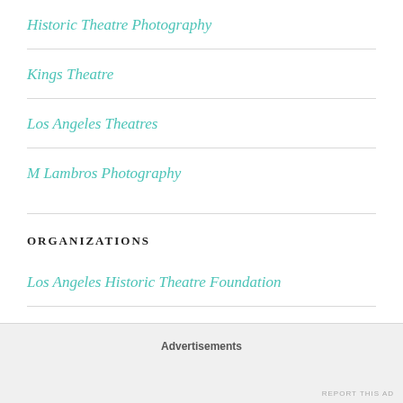Historic Theatre Photography
Kings Theatre
Los Angeles Theatres
M Lambros Photography
ORGANIZATIONS
Los Angeles Historic Theatre Foundation
Advertisements